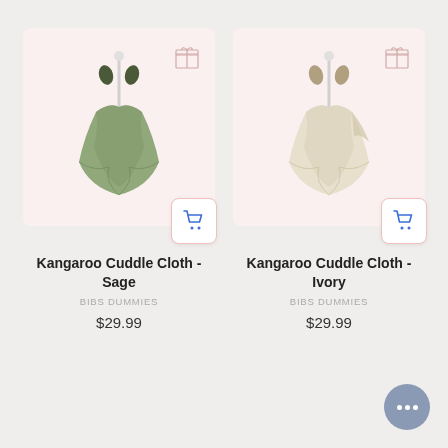[Figure (photo): Kangaroo Cuddle Cloth in Sage color, hanging on a white hook stand, soft green fabric, on a pink-tinted background]
Kangaroo Cuddle Cloth - Sage
BIBS DUMMIES
$29.99
[Figure (photo): Kangaroo Cuddle Cloth in Ivory color, hanging on a white hook stand, cream/ivory fabric, on a pink-tinted background]
Kangaroo Cuddle Cloth - Ivory
BIBS DUMMIES
$29.99